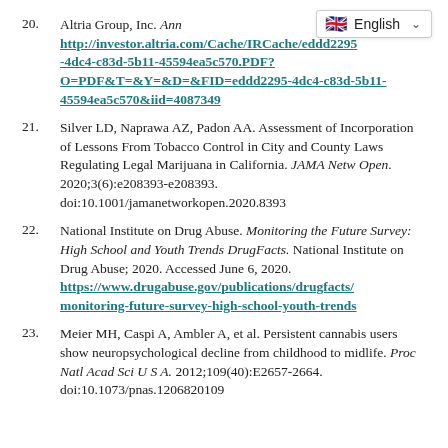20. Altria Group, Inc. Ann… http://investor.altria.com/Cache/IRCache/eddd2295-4dc4-c83d-5b11-45594ea5c570.PDF?O=PDF&T=&Y=&D=&FID=eddd2295-4dc4-c83d-5b11-45594ea5c570&iid=4087349
21. Silver LD, Naprawa AZ, Padon AA. Assessment of Incorporation of Lessons From Tobacco Control in City and County Laws Regulating Legal Marijuana in California. JAMA Netw Open. 2020;3(6):e208393-e208393. doi:10.1001/jamanetworkopen.2020.8393
22. National Institute on Drug Abuse. Monitoring the Future Survey: High School and Youth Trends DrugFacts. National Institute on Drug Abuse; 2020. Accessed June 6, 2020. https://www.drugabuse.gov/publications/drugfacts/monitoring-future-survey-high-school-youth-trends
23. Meier MH, Caspi A, Ambler A, et al. Persistent cannabis users show neuropsychological decline from childhood to midlife. Proc Natl Acad Sci U S A. 2012;109(40):E2657-2664. doi:10.1073/pnas.1206820109